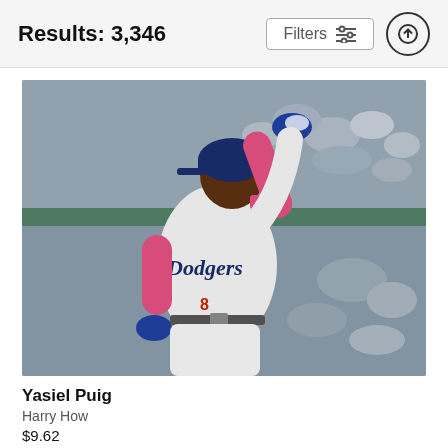Results: 3,346
[Figure (photo): Baseball player Yasiel Puig in a white Los Angeles Dodgers uniform with pink accessories, raising his hand, celebrating in front of a blurred crowd at a stadium.]
Yasiel Puig
Harry How
$9.62